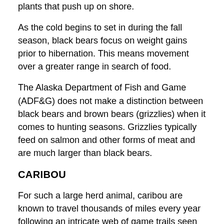plants that push up on shore.
As the cold begins to set in during the fall season, black bears focus on weight gains prior to hibernation. This means movement over a greater range in search of food.
The Alaska Department of Fish and Game (ADF&G) does not make a distinction between black bears and brown bears (grizzlies) when it comes to hunting seasons. Grizzlies typically feed on salmon and other forms of meat and are much larger than black bears.
CARIBOU
For such a large herd animal, caribou are known to travel thousands of miles every year following an intricate web of game trails seen only from the sky. There are 32 primary caribou herds throughout Alaska with more than 750,000 roaming the land.
Subsistence hunting regulations for the above are of